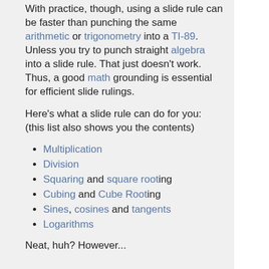With practice, though, using a slide rule can be faster than punching the same arithmetic or trigonometry into a TI-89. Unless you try to punch straight algebra into a slide rule. That just doesn't work. Thus, a good math grounding is essential for efficient slide rulings.
Here's what a slide rule can do for you: (this list also shows you the contents)
Multiplication
Division
Squaring and square rooting
Cubing and Cube Rooting
Sines, cosines and tangents
Logarithms
Neat, huh? However...